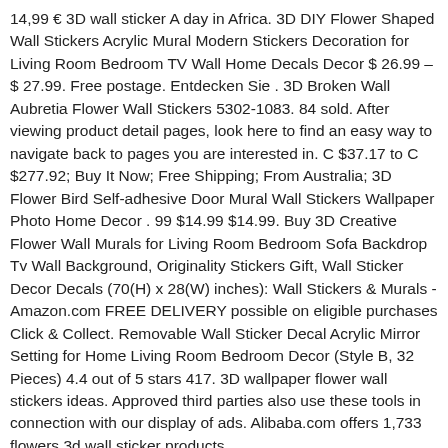14,99 € 3D wall sticker A day in Africa. 3D DIY Flower Shaped Wall Stickers Acrylic Mural Modern Stickers Decoration for Living Room Bedroom TV Wall Home Decals Decor $ 26.99 – $ 27.99. Free postage. Entdecken Sie . 3D Broken Wall Aubretia Flower Wall Stickers 5302-1083. 84 sold. After viewing product detail pages, look here to find an easy way to navigate back to pages you are interested in. C $37.17 to C $277.92; Buy It Now; Free Shipping; From Australia; 3D Flower Bird Self-adhesive Door Mural Wall Stickers Wallpaper Photo Home Decor . 99 $14.99 $14.99. Buy 3D Creative Flower Wall Murals for Living Room Bedroom Sofa Backdrop Tv Wall Background, Originality Stickers Gift, Wall Sticker Decor Decals (70(H) x 28(W) inches): Wall Stickers & Murals - Amazon.com FREE DELIVERY possible on eligible purchases Click & Collect. Removable Wall Sticker Decal Acrylic Mirror Setting for Home Living Room Bedroom Decor (Style B, 32 Pieces) 4.4 out of 5 stars 417. 3D wallpaper flower wall stickers ideas. Approved third parties also use these tools in connection with our display of ads. Alibaba.com offers 1,733 flowers 3d wall sticker products.